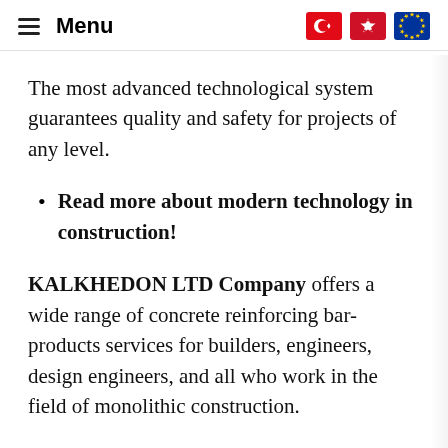≡ Menu
The most advanced technological system guarantees quality and safety for projects of any level.
Read more about modern technology in construction!
KALKHEDON LTD Company offers a wide range of concrete reinforcing bar-products services for builders, engineers, design engineers, and all who work in the field of monolithic construction.